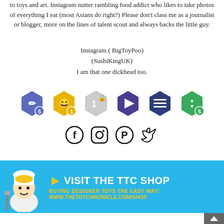to toys and art. Instagram nutter rambling food addict who likes to take photos of everything I eat (most Asians do right?) Please don't class me as a journalist or blogger, more on the lines of talent scout and always backs the little guy.
Instagram ( BigToyPoo)
(SushiKingUK)
I am that one dickhead too.
[Figure (infographic): Row of six hexagonal badge icons: pencil/edit badge with number 5, smiley face badge with number 1, number 1 badge with lock, play button badge, list/menu badge, up-down arrows badge with number 5]
[Figure (infographic): Row of four social media icons: Facebook, Instagram, Pinterest, Twitter]
[Figure (infographic): Blue banner advertisement: chef character on left, text 'VISIT THE TTC SHOP' in white, 'BUYING DESIGNER TOYS THE EASY WAY!' in yellow, 'WWW.THETOYCHRONICLE.COM/SHOP' in yellow]